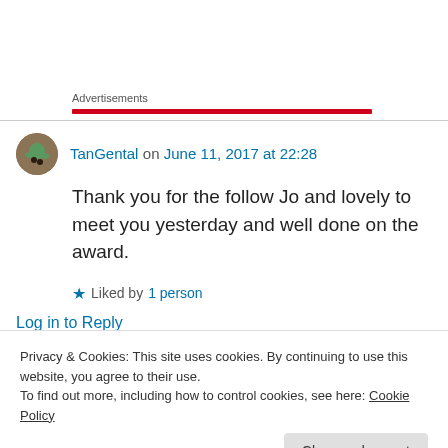Advertisements
TanGental on June 11, 2017 at 22:28
Thank you for the follow Jo and lovely to meet you yesterday and well done on the award.
★ Liked by 1 person
Log in to Reply
Privacy & Cookies: This site uses cookies. By continuing to use this website, you agree to their use.
To find out more, including how to control cookies, see here: Cookie Policy
😊😊 And I was so happy to come 2nd in